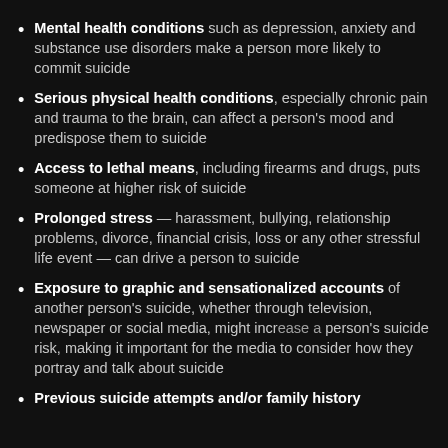Mental health conditions such as depression, anxiety and substance use disorders make a person more likely to commit suicide
Serious physical health conditions, especially chronic pain and trauma to the brain, can affect a person's mood and predispose them to suicide
Access to lethal means, including firearms and drugs, puts someone at higher risk of suicide
Prolonged stress — harassment, bullying, relationship problems, divorce, financial crisis, loss or any other stressful life event — can drive a person to suicide
Exposure to graphic and sensationalized accounts of another person's suicide, whether through television, newspaper or social media, might increase a person's suicide risk, making it important for the media to consider how they portray and talk about suicide
Previous suicide attempts and/or family history